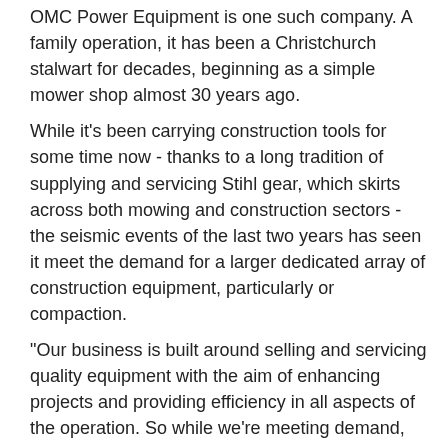OMC Power Equipment is one such company. A family operation, it has been a Christchurch stalwart for decades, beginning as a simple mower shop almost 30 years ago.
While it's been carrying construction tools for some time now - thanks to a long tradition of supplying and servicing Stihl gear, which skirts across both mowing and construction sectors - the seismic events of the last two years has seen it meet the demand for a larger dedicated array of construction equipment, particularly or compaction.
"Our business is built around selling and servicing quality equipment with the aim of enhancing projects and providing efficiency in all aspects of the operation. So while we're meeting demand, we still want to supply the best tools possible," says Manfred Watt, who takes me out to a central Christchurch site to have a look at an example of the latest line to be added to the OMC Power Equipment showroom floor, the new Weber MT CR6 compactor, a 412kg-capacity diesel unit powered by a German-made Hatz diesel motor with electric start.